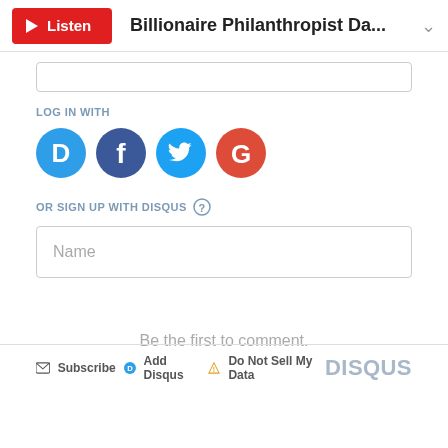Listen — Billionaire Philanthropist Da...
LOG IN WITH
[Figure (illustration): Four social login icons: Disqus (blue circle with D), Facebook (dark blue circle with f), Twitter (light blue circle with bird), Google (red circle with G)]
OR SIGN UP WITH DISQUS ?
Name
Be the first to comment.
Subscribe  Add Disqus  Do Not Sell My Data  DISQUS